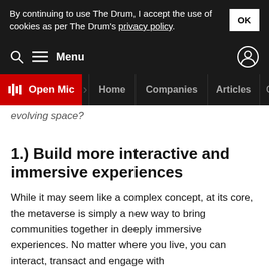By continuing to use The Drum, I accept the use of cookies as per The Drum's privacy policy. OK
Menu
Open Mic  Home  Companies  Articles  C>
evolving space?
1.) Build more interactive and immersive experiences
While it may seem like a complex concept, at its core, the metaverse is simply a new way to bring communities together in deeply immersive experiences. No matter where you live, you can interact, transact and engage with